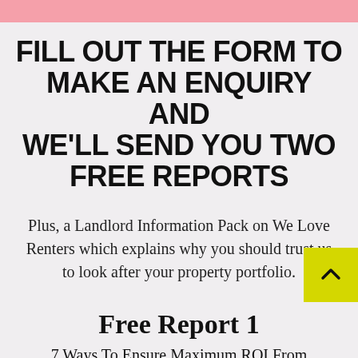[Figure (other): Pink decorative bar at top of page]
FILL OUT THE FORM TO MAKE AN ENQUIRY AND WE'LL SEND YOU TWO FREE REPORTS
Plus, a Landlord Information Pack on We Love Renters which explains why you should trust us to look after your property portfolio.
Free Report 1
7 Ways To Ensure Maximum ROI From